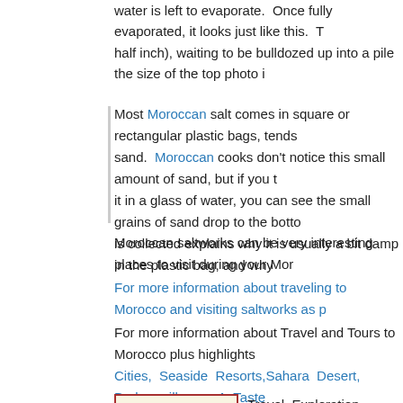water is left to evaporate. Once fully evaporated, it looks just like this. T half inch), waiting to be bulldozed up into a pile the size of the top photo i
Most Moroccan salt comes in square or rectangular plastic bags, tends sand. Moroccan cooks don't notice this small amount of sand, but if you t it in a glass of water, you can see the small grains of sand drop to the bott is collected explains why it is usually a bit damp in the plastic bag, and why
Moroccan saltworks can be very interesting places to visit during your Mor
For more information about traveling to Morocco and visiting saltworks as p
For more information about Travel and Tours to Morocco plus highlights Cities, Seaside Resorts, Sahara Desert, Berber villages, A Taste Waterfalls, Absolute Morocco, The Best of Marrakech, Fes, and Ouarzazat
[Figure (logo): Travel Exploration logo - Discover The Best of Morocco]
Travel Exploration specializes in Mor opportunities to Morocco for the indepen and groups with a distinctly unique flav the Magical Sahara Travel Exploration c you. At Travel Exploration we guarantee that you will discover the at 1 (800) 787-8806 or 1 (917)703-2078 and let's book a tour to Morocco
Agadir, Dakhla, Laayoune, Merlift, Morocco Holidays, Sahara Desert Tou Morocco Tours, Morocco Travel, Tours to Morocco, Morocco Vacations, Mo